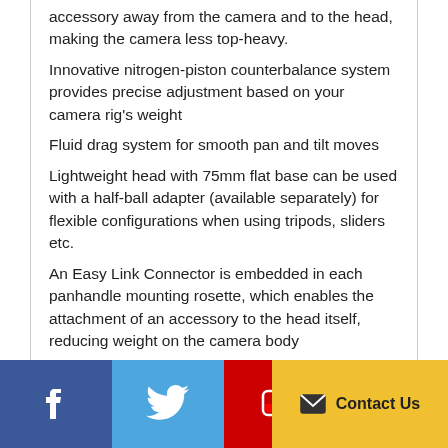accessory away from the camera and to the head, making the camera less top-heavy.
Innovative nitrogen-piston counterbalance system provides precise adjustment based on your camera rig's weight
Fluid drag system for smooth pan and tilt moves
Lightweight head with 75mm flat base can be used with a half-ball adapter (available separately) for flexible configurations when using tripods, sliders etc.
An Easy Link Connector is embedded in each panhandle mounting rosette, which enables the attachment of an accessory to the head itself, reducing weight on the camera body
Left-sided controls free your right hand for operating the panhandle
Specification
Reviews
[Figure (other): Social media icons bar: Facebook (blue), Twitter (light blue), YouTube (red), Instagram (pink/purple), and a Contact Us button (yellow)]